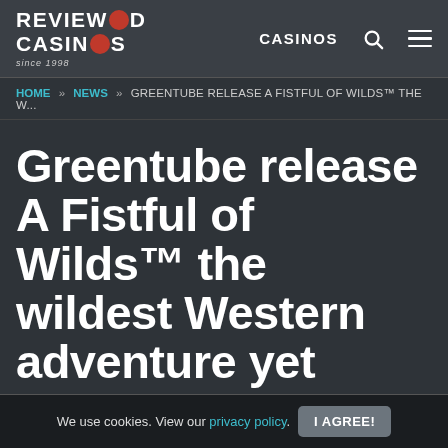REVIEWED CASINOS since 1998 | CASINOS
HOME » NEWS » GREENTUBE RELEASE A FISTFUL OF WILDS™ THE W...
Greentube release A Fistful of Wilds™ the wildest Western adventure yet
NEWS ON 24 MAY 2022
We use cookies. View our privacy policy. I AGREE!